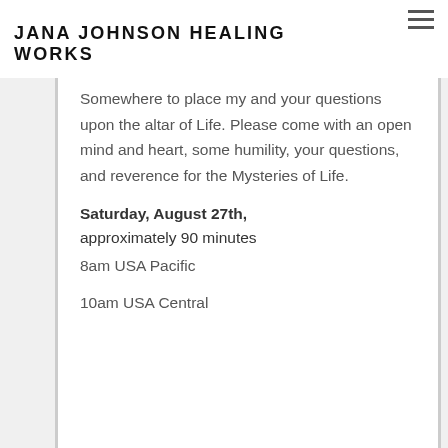JANA JOHNSON HEALING WORKS
Somewhere to place my and your questions upon the altar of Life. Please come with an open mind and heart, some humility, your questions, and reverence for the Mysteries of Life.
Saturday, August 27th, approximately 90 minutes
8am USA Pacific
10am USA Central